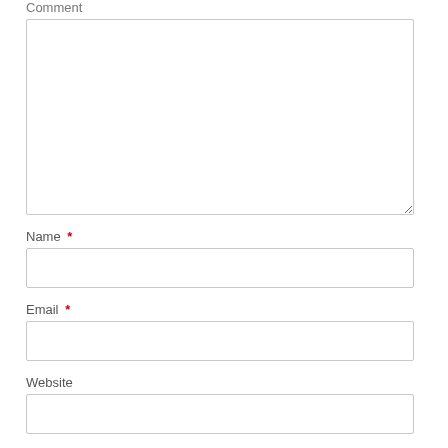Comment
[Figure (screenshot): Large empty textarea for comment input]
Name *
[Figure (screenshot): Single-line text input for Name]
Email *
[Figure (screenshot): Single-line text input for Email]
Website
[Figure (screenshot): Single-line text input for Website]